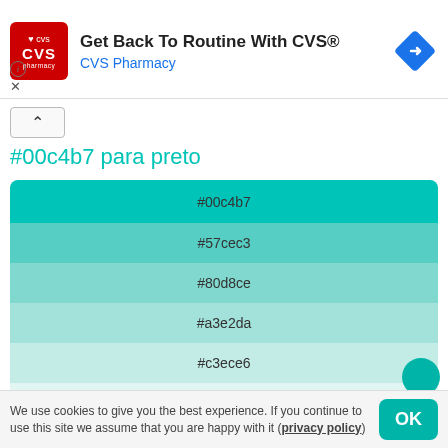[Figure (screenshot): CVS Pharmacy advertisement banner with red logo, title 'Get Back To Routine With CVS®', subtitle 'CVS Pharmacy', and blue diamond navigation icon on the right. Info (i) and X icons at lower left.]
[Figure (other): Collapse/chevron up button in a box]
#00c4b7 para preto
[Figure (infographic): Color palette showing tints from #00c4b7 to #e1f6f3, six color swatches stacked vertically with hex labels centered on each swatch]
#ffffff / #fff
We use cookies to give you the best experience. If you continue to use this site we assume that you are happy with it (privacy policy)